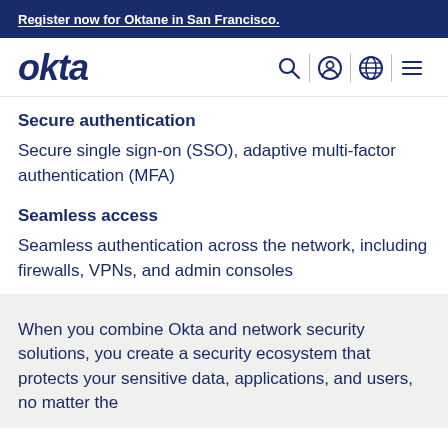Register now for Oktane in San Francisco.
[Figure (logo): Okta logo in dark blue italic bold text with navigation icons: search, user, globe, menu]
Secure authentication
Secure single sign-on (SSO), adaptive multi-factor authentication (MFA)
Seamless access
Seamless authentication across the network, including firewalls, VPNs, and admin consoles
When you combine Okta and network security solutions, you create a security ecosystem that protects your sensitive data, applications, and users, no matter the